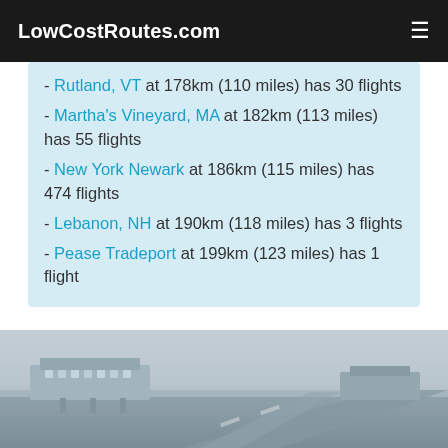LowCostRoutes.com
- Rutland, VT at 178km (110 miles) has 30 flights
- Martha's Vineyard, MA at 182km (113 miles) has 55 flights
- New York Newark at 186km (115 miles) has 474 flights
- Lebanon, NH at 190km (118 miles) has 3 flights
- Pease Tradeport at 199km (123 miles) has 1 flight
[Figure (photo): Aerial or ground-level view of an airport terminal and runways in hazy/foggy conditions]